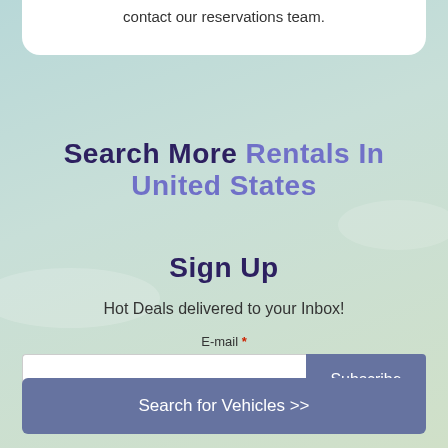contact our reservations team.
Search More Rentals in United States
Sign Up
Hot Deals delivered to your Inbox!
E-mail *
Subscribe
Search for Vehicles >>